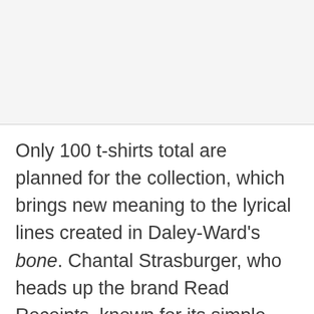Only 100 t-shirts total are planned for the collection, which brings new meaning to the lyrical lines created in Daley-Ward's bone. Chantal Strasburger, who heads up the brand Read Receipts, known for its simple text embroidery, is doing the grunt work on the t-shirts. For those interested, there will be three separate designs, one which places a line on the sleeve, one in which understated